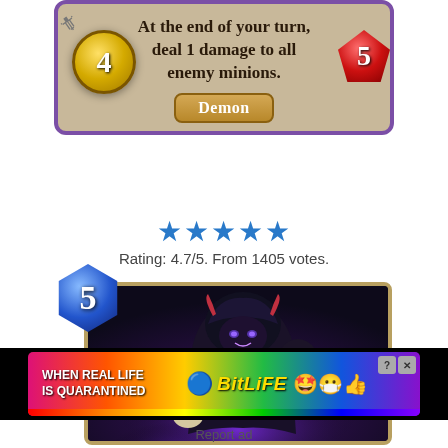[Figure (illustration): Hearthstone card top portion showing card text 'At the end of your turn, deal 1 damage to all enemy minions.' with 'Demon' type banner, mana cost 4 (gold gem) and health 5 (red drop), with sword icon]
★★★★★
Rating: 4.7/5. From 1405 votes.
[Figure (illustration): Hearthstone card bottom portion showing a dark-robed character with purple magical energy, with blue hexagon mana cost gem showing 5, gold-bordered card art]
[Figure (illustration): BitLife advertisement banner: 'WHEN REAL LIFE IS QUARANTINED' with BitLife logo and emoji icons, rainbow background]
Report ad